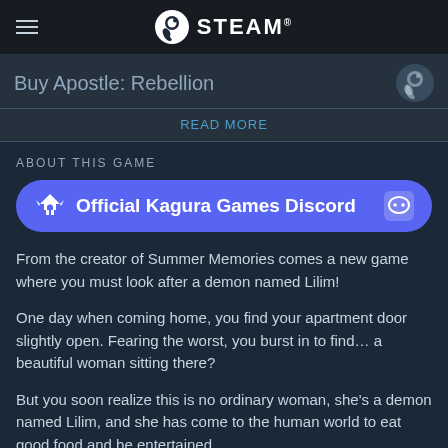STEAM
Buy Apostle: Rebellion
READ MORE
ABOUT THIS GAME
[Figure (infographic): Official Kagura Games Discord banner with wolf logo and Discord icon]
From the creator of Summer Memories comes a new game where you must look after a demon named Lilim!
One day when coming home, you find your apartment door slightly open. Fearing the worst, you burst in to find… a beautiful woman sitting there?
But you soon realize this is no ordinary woman, she's a demon named Lilim, and she has come to the human world to eat good food and be entertained.